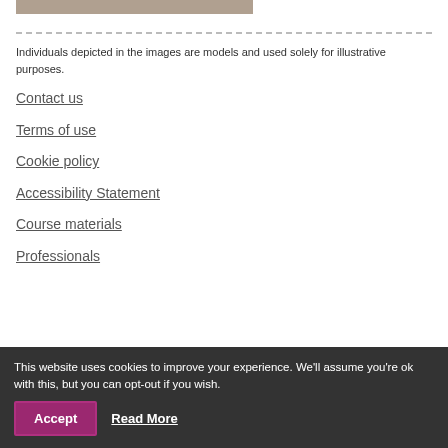[Figure (photo): Partial image of books or materials on a desk, cropped at top]
Individuals depicted in the images are models and used solely for illustrative purposes.
Contact us
Terms of use
Cookie policy
Accessibility Statement
Course materials
Professionals
This website uses cookies to improve your experience. We'll assume you're ok with this, but you can opt-out if you wish. Accept Read More